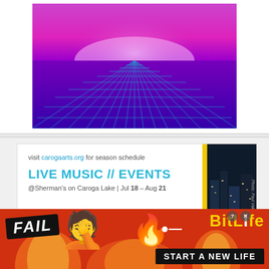[Figure (illustration): Retro synthwave purple/pink background with blue grid lines converging to a glowing horizon point. The grid floor extends into a vibrant purple sky.]
[Figure (infographic): Caroga Arts advertisement. Text reads: 'visit carogaarts.org for season schedule. LIVE MUSIC // EVENTS @Sherman's on Caroga Lake | Jul 18 – Aug 21'. Right side shows a dark blue photo panel with yellow stripe and vertical photo credit 'Photo: Paul Vakovic'.]
[Figure (infographic): BitLife mobile game advertisement banner. Orange/red background with animated characters. Text includes 'FAIL' in black label, 'BitLife' logo in yellow, and 'START A NEW LIFE' tagline on black background.]